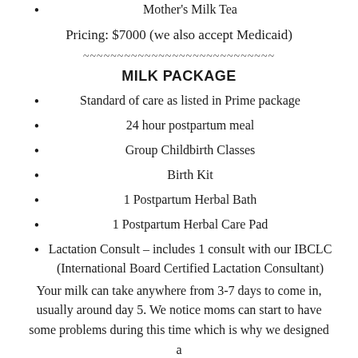Mother's Milk Tea
Pricing: $7000 (we also accept Medicaid)
~~~~~~~~~~~~~~~~~~~~~~~~~~~~
MILK PACKAGE
Standard of care as listed in Prime package
24 hour postpartum meal
Group Childbirth Classes
Birth Kit
1 Postpartum Herbal Bath
1 Postpartum Herbal Care Pad
Lactation Consult – includes 1 consult with our IBCLC (International Board Certified Lactation Consultant)
Your milk can take anywhere from 3-7 days to come in, usually around day 5. We notice moms can start to have some problems during this time which is why we designed a